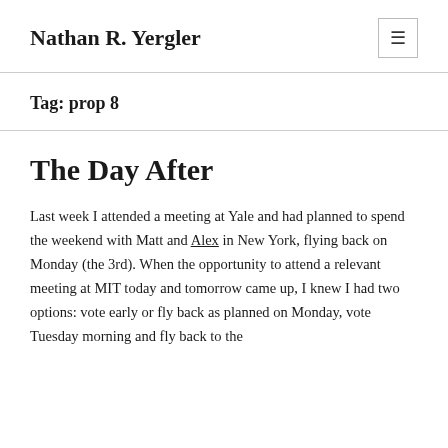Nathan R. Yergler
Tag: prop 8
The Day After
Last week I attended a meeting at Yale and had planned to spend the weekend with Matt and Alex in New York, flying back on Monday (the 3rd). When the opportunity to attend a relevant meeting at MIT today and tomorrow came up, I knew I had two options: vote early or fly back as planned on Monday, vote Tuesday morning and fly back to the